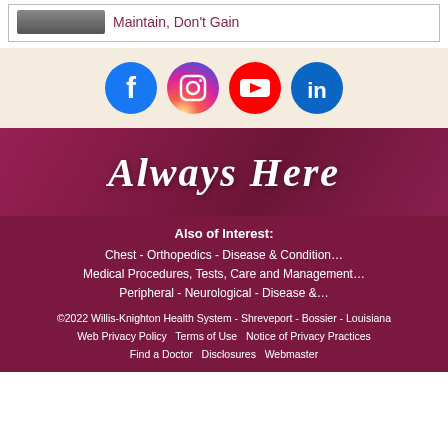Maintain, Don't Gain
[Figure (infographic): Social media icons: Facebook, Instagram, YouTube, LinkedIn]
[Figure (illustration): Always Here – decorative script text on dark red background with blurred medical staff in background]
Also of Interest:
Chest - Orthopedics - Disease & Condition…
Medical Procedures, Tests, Care and Management…
Peripheral - Neurological - Disease &…
©2022 Willis-Knighton Health System - Shreveport - Bossier - Louisiana
Web Privacy Policy  Terms of Use  Notice of Privacy Practices
Find a Doctor  Disclosures  Webmaster